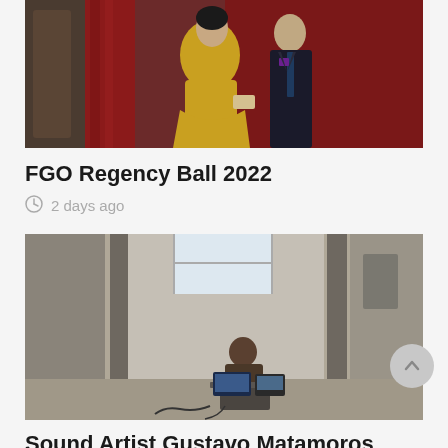[Figure (photo): A couple posing at a formal event. A woman in a gold/yellow dress and a man in a dark suit stand in front of red draped fabric.]
FGO Regency Ball 2022
2 days ago
[Figure (photo): A person sits in a sparse concrete room with laptop computers and audio equipment, performing or working on a sound art installation.]
Sound Artist Gustavo Matamoros Curates Collaborative “Experiments”